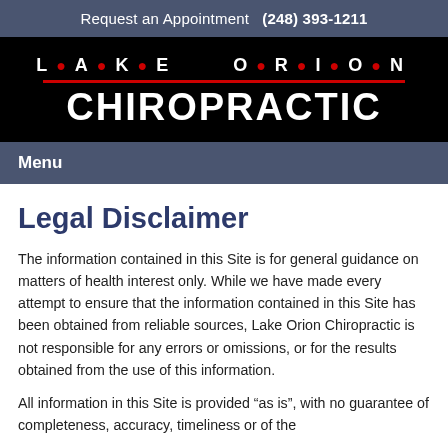Request an Appointment  (248) 393-1211
[Figure (logo): Lake Orion Chiropractic logo: white text on black background with red dots and red underline]
Menu
Legal Disclaimer
The information contained in this Site is for general guidance on matters of health interest only. While we have made every attempt to ensure that the information contained in this Site has been obtained from reliable sources, Lake Orion Chiropractic is not responsible for any errors or omissions, or for the results obtained from the use of this information.
All information in this Site is provided “as is”, with no guarantee of completeness, accuracy, timeliness or of the